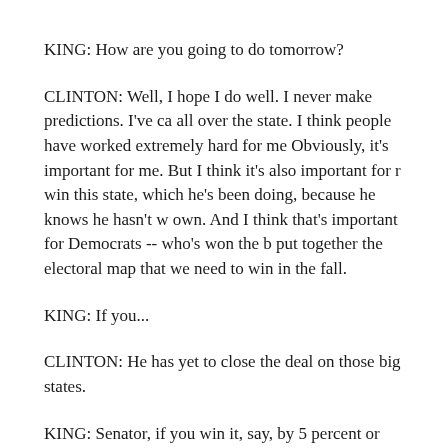KING: How are you going to do tomorrow?
CLINTON: Well, I hope I do well. I never make predictions. I've ca all over the state. I think people have worked extremely hard for me Obviously, it's important for me. But I think it's also important for r win this state, which he's been doing, because he knows he hasn't w own. And I think that's important for Democrats -- who's won the b put together the electoral map that we need to win in the fall.
KING: If you...
CLINTON: He has yet to close the deal on those big states.
KING: Senator, if you win it, say, by 5 percent or less, will that be a